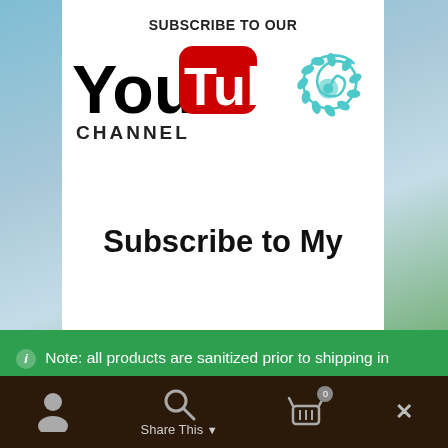[Figure (screenshot): YouTube channel subscribe banner with YouTube logo and a teal spiral/droplet logo on the right]
Subscribe to My
Note: all products are sanitized prior to shipping in response to CoVid19. Receive a free Orgone Generator with every order placed over $100.00 until September 30th, 2022. Free gift is randomly selected and automatically added to your order.
Dismiss
Share This  0  ×